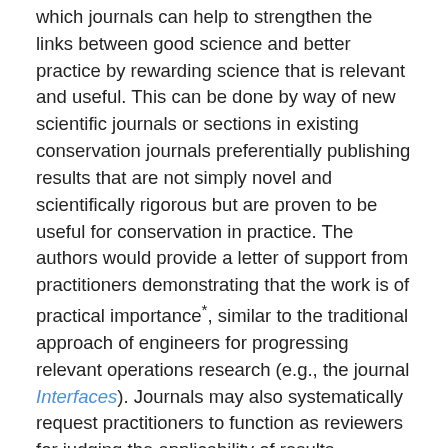which journals can help to strengthen the links between good science and better practice by rewarding science that is relevant and useful. This can be done by way of new scientific journals or sections in existing conservation journals preferentially publishing results that are not simply novel and scientifically rigorous but are proven to be useful for conservation in practice. The authors would provide a letter of support from practitioners demonstrating that the work is of practical importance*, similar to the traditional approach of engineers for progressing relevant operations research (e.g., the journal Interfaces). Journals may also systematically request practitioners to function as reviewers for judging the applicability of results.
The Journal of Applied Ecology recently launched one such initiative where they are giving a voice to practitioners to help span the divide between